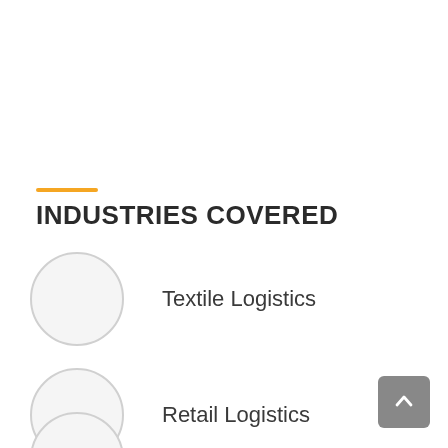INDUSTRIES COVERED
Textile Logistics
Retail Logistics